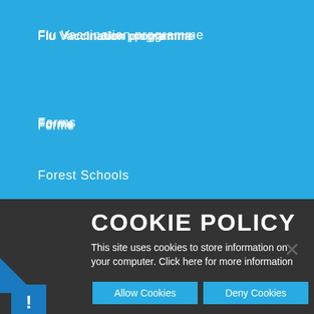Flu Vaccination programme
Forms
Forest Schools
Hot School Meals
ParentPay
COOKIE POLICY
This site uses cookies to store information on your computer. Click here for more information
Allow Cookies
Deny Cookies